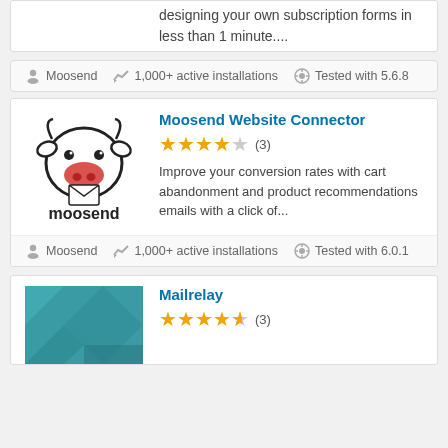designing your own subscription forms in less than 1 minute....
Moosend
1,000+ active installations  Tested with 5.6.8
Moosend Website Connector
3 stars rating (3 reviews)
Improve your conversion rates with cart abandonment and product recommendations emails with a click of...
Moosend
1,000+ active installations  Tested with 6.0.1
Mailrelay
4.5 stars rating (3 reviews)